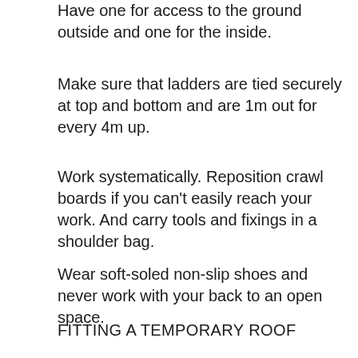Have one for access to the ground outside and one for the inside.
Make sure that ladders are tied securely at top and bottom and are 1m out for every 4m up.
Work systematically. Reposition crawl boards if you can't easily reach your work. And carry tools and fixings in a shoulder bag.
Wear soft-soled non-slip shoes and never work with your back to an open space.
FITTING A TEMPORARY ROOF
You'll need some kind of simple waterproof cover to protect the rooms below — and later